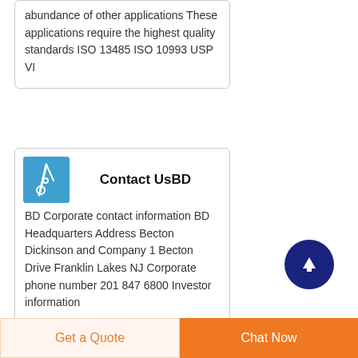abundance of other applications These applications require the highest quality standards ISO 13485 ISO 10993 USP VI
Contact UsBD
BD Corporate contact information BD Headquarters Address Becton Dickinson and Company 1 Becton Drive Franklin Lakes NJ Corporate phone number 201 847 6800 Investor information
Get a Quote   Chat Now